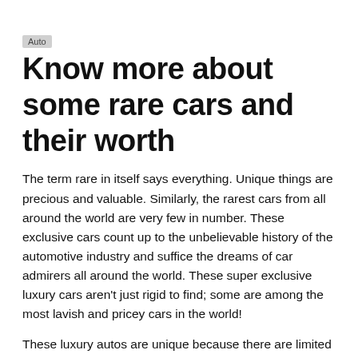Auto
Know more about some rare cars and their worth
The term rare in itself says everything. Unique things are precious and valuable. Similarly, the rarest cars from all around the world are very few in number. These exclusive cars count up to the unbelievable history of the automotive industry and suffice the dreams of car admirers all around the world. These super exclusive luxury cars aren't just rigid to find; some are among the most lavish and pricey cars in the world!
These luxury autos are unique because there are limited models that were built and because they have uncommon features. Cars that are difficult to find can retrieve appealing amounts when sold at an auction or through